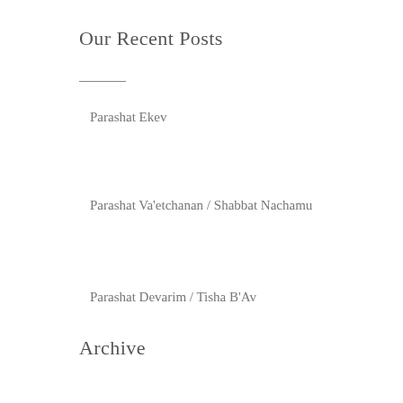Our Recent Posts
Parashat Ekev
Parashat Va'etchanan / Shabbat Nachamu
Parashat Devarim / Tisha B'Av
Archive
August 2022
July 2022